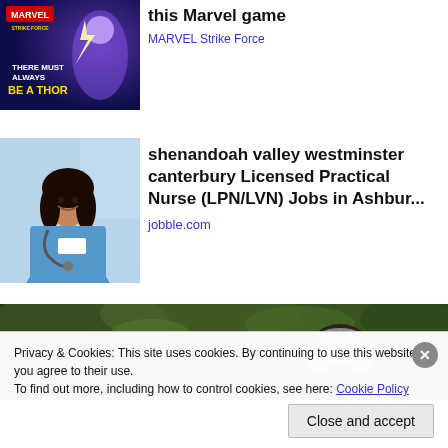[Figure (illustration): Marvel Strike Force game advertisement image with dark blue/purple background, character and text 'THERE MUST ALWAYS BE A THOR']
this Marvel game
MARVEL Strike Force
[Figure (photo): Smiling female nurse in blue scrubs with stethoscope]
shenandoah valley westminster canterbury Licensed Practical Nurse (LPN/LVN) Jobs in Ashbur...
jobble.com
[Figure (photo): Partial photo of an elderly man outdoors with green foliage background]
Privacy & Cookies: This site uses cookies. By continuing to use this website, you agree to their use.
To find out more, including how to control cookies, see here: Cookie Policy
Close and accept